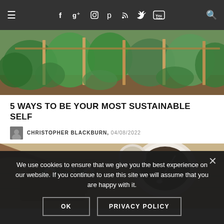Navigation bar with menu, social icons (Facebook, Google+, Instagram, Pinterest, RSS, Twitter, YouTube) and search
[Figure (photo): Overhead view of a garden with green plants and wooden stakes]
5 WAYS TO BE YOUR MOST SUSTAINABLE SELF
CHRISTOPHER BLACKBURN, 04/08/2022
[Figure (photo): Overhead food photo showing bread with toppings, a bowl of dark sauce with a spoon, and seeds on a wooden board]
We use cookies to ensure that we give you the best experience on our website. If you continue to use this site we will assume that you are happy with it.